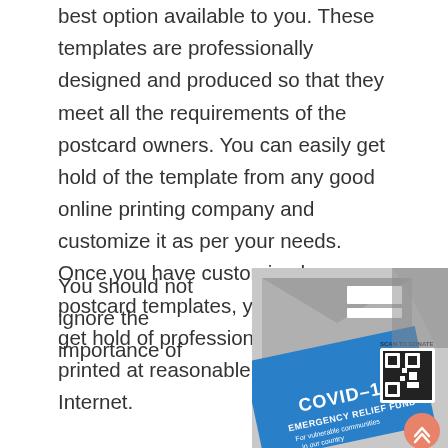best option available to you. These templates are professionally designed and produced so that they meet all the requirements of the postcard owners. You can easily get hold of the template from any good online printing company and customize it as per your needs. Once you have customized your postcard templates, you can easily get hold of professional postcards printed at reasonable prices from the Internet.
You should not ignore the importance of
[Figure (photo): A photo of postcards laid on a surface, featuring a blue COVID-19 Emergency Relief Fund postcard with a QR code labeled 'SCAN TO DONATE', alongside gray envelopes and a salmon/coral colored circular button with double chevron arrows.]